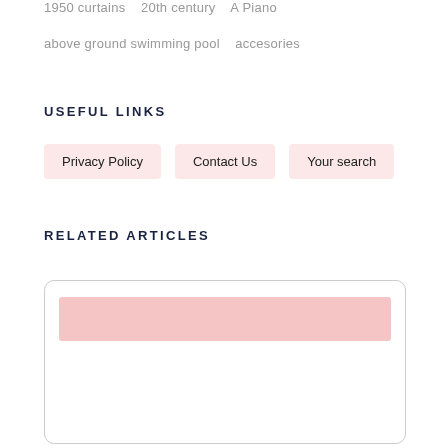1950 curtains   20th century   A Piano
above ground swimming pool   accesories
USEFUL LINKS
Privacy Policy
Contact Us
Your search
RELATED ARTICLES
[Figure (other): Article card with a pink placeholder image bar and white content area below, bordered with rounded corners]